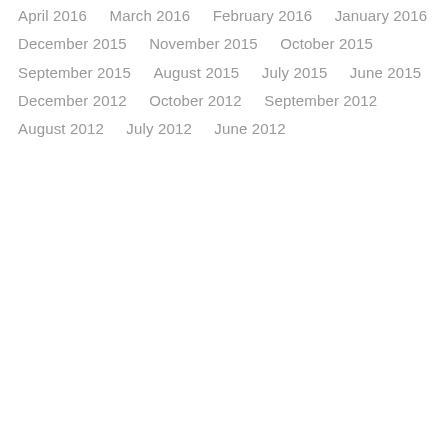April 2016
March 2016
February 2016
January 2016
December 2015
November 2015
October 2015
September 2015
August 2015
July 2015
June 2015
December 2012
October 2012
September 2012
August 2012
July 2012
June 2012